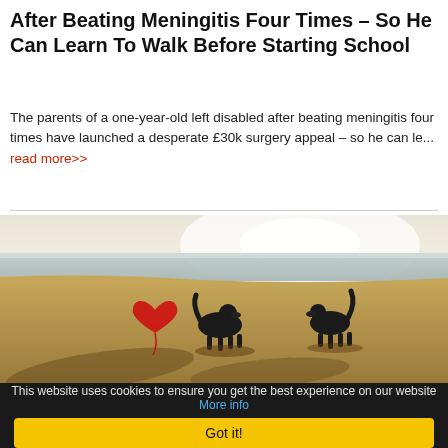After Beating Meningitis Four Times – So He Can Learn To Walk Before Starting School
The parents of a one-year-old left disabled after beating meningitis four times have launched a desperate £30k surgery appeal – so he can le... read more>>
[Figure (photo): Two dark-colored dogs on a sandy beach with a red heart-shaped balloon/kite on the left, long shadows cast on the sand, ocean and bright sky in the background.]
This website uses cookies to ensure you get the best experience on our website More info
Got it!